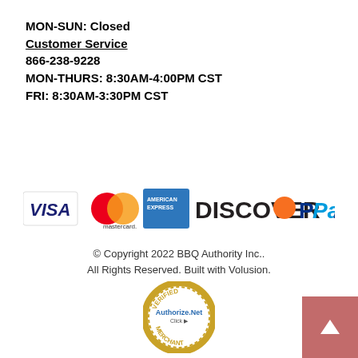MON-SUN: Closed
Customer Service
866-238-9228
MON-THURS: 8:30AM-4:00PM CST
FRI: 8:30AM-3:30PM CST
[Figure (logo): Payment icons: VISA, Mastercard, American Express, Discover, PayPal]
© Copyright 2022 BBQ Authority Inc.. All Rights Reserved. Built with Volusion.
[Figure (logo): Authorize.Net Verified Merchant badge]
[Figure (logo): Volusion SSL Secure Site badge]